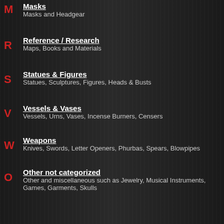M — Masks | Masks and Headgear
R — Reference / Research | Maps, Books and Materials
S — Statues & Figures | Statues, Sculptures, Figures, Heads & Busts
V — Vessels & Vases | Vessels, Urns, Vases, Incense Burners, Censers
W — Weapons | Knives, Swords, Letter Openers, Phurbas, Spears, Blowpipes
O — Other not categorized | Other and miscellaneous such as Jewelry, Musical Instruments, Games, Garments, Skulls
Newly Added Products
Antique Bronze Censer.  Incense Burner.  Phoenix.  China.
Antique Jadestone and Bronze Tripod Censer.  Incense Burner.  Dushan.  Nanyang, Henan Province, China
Warrior Short Sword. Brass Scabbard.  Dragon.  Bhutan / Tibe
Vintage Carved Stone Christian Crucifix.  Wall hung.
BOOKS: The British Museum. Egyptian Antiquities.  Leather Bound